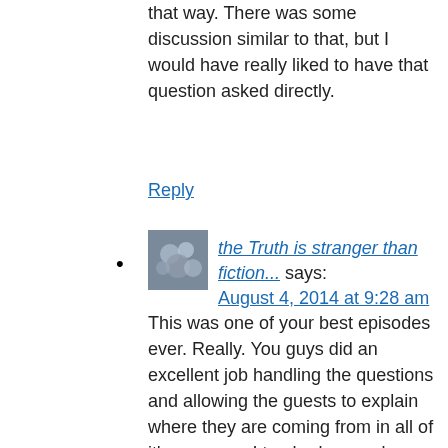that way. There was some discussion similar to that, but I would have really liked to have that question asked directly.
Reply
[Figure (photo): User avatar thumbnail photo]
the Truth is stranger than fiction... says:
August 4, 2014 at 9:28 am
This was one of your best episodes ever. Really. You guys did an excellent job handling the questions and allowing the guests to explain where they are coming from in all of it's nuances. I too had a couple moments towards the beginning of the interview where I was a little fuzzy as to what exactly they were or weren't saying, but as you kept on going, there was no doubt left at all as to where all four of you come down, and it was awesome…